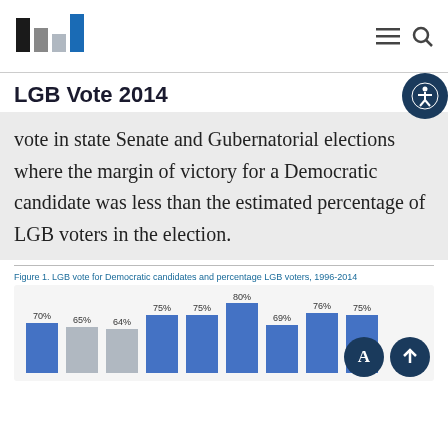[Figure (logo): Bar chart logo icon with black, gray, and blue bars, resembling an institution logo]
LGB Vote 2014
vote in state Senate and Gubernatorial elections where the margin of victory for a Democratic candidate was less than the estimated percentage of LGB voters in the election.
Figure 1. LGB vote for Democratic candidates and percentage LGB voters, 1996-2014
[Figure (bar-chart): LGB vote for Democratic candidates and percentage LGB voters, 1996-2014]